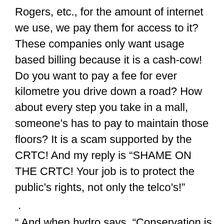Rogers, etc., for the amount of internet we use, we pay them for access to it? These companies only want usage based billing because it is a cash-cow! Do you want to pay a fee for ever kilometre you drive down a road? How about every step you take in a mall, someone's has to pay to maintain those floors? It is a scam supported by the CRTC! And my reply is “SHAME ON THE CRTC! Your job is to protect the public’s rights, not only the telco’s!”
.
“ And when hydro says, “Conservation is about protecting the environment!” they are feeding us another line! No it’s not? It’s about guilt-tripping people into accepting every rate hike and expense recovery crap line they have been feeding us for years! Of course, our rate today is more than 4 times higher over 20 years ago, so what are they showing for it? Do we have really cool hydrogen fuel-cell